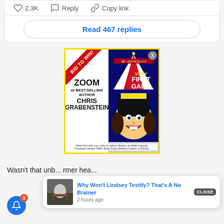2.3K   Reply   Copy link
Read 467 replies
[Figure (screenshot): Advertisement for a Zoom session with best-selling author Chris Grabenstein. Left side shows 'BID TO WIN!' banner, 'ZOOM w/ BEST-SELLING AUTHOR CHRIS GRABENSTEIN'. Right side shows Mr. Lemoncello's Very First Game book cover. Bottom text: Meet him with your school, school district, or writer's group! Proceeds benefit TABC Book Drop (Writer's Cubed, a 501c3).]
Wasn't that unb... rmer hea...
Why Won't Lindsey Testify? That's A No Brainer
2 hours ago